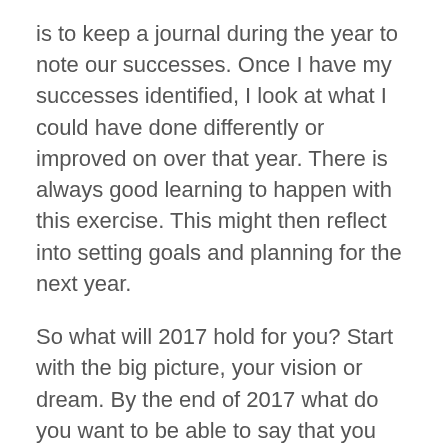is to keep a journal during the year to note our successes. Once I have my successes identified, I look at what I could have done differently or improved on over that year. There is always good learning to happen with this exercise. This might then reflect into setting goals and planning for the next year.
So what will 2017 hold for you? Start with the big picture, your vision or dream. By the end of 2017 what do you want to be able to say that you achieved? (My goal for this year was to be writing for a fabulous magazine that aligned with my values, and here I am!) Where do you want to be in your life? Perhaps you are chasing more work life balance. You may want to have moved into that management role. It may be that you want to have more time to focus on doing something that you love. Whatever it is, remember that it is your dream, nobody else's. Make it your thing, meaningful for...